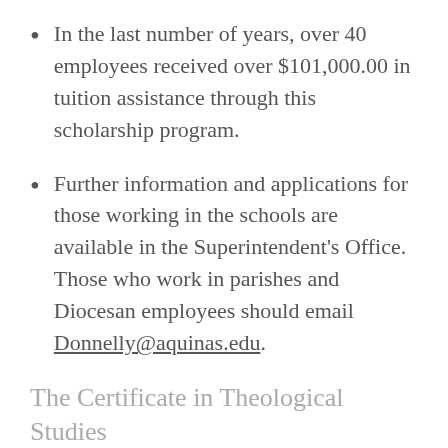In the last number of years, over 40 employees received over $101,000.00 in tuition assistance through this scholarship program.
Further information and applications for those working in the schools are available in the Superintendent's Office. Those who work in parishes and Diocesan employees should email Donnelly@aquinas.edu.
The Certificate in Theological Studies